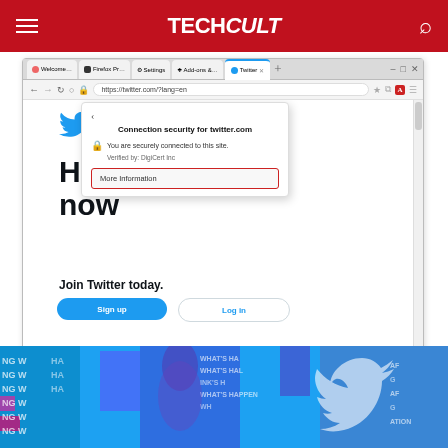TECH Cult
[Figure (screenshot): Firefox browser showing Twitter.com homepage with a connection security popup open showing 'More Information' button highlighted with a red border. The Twitter page shows 'Happening now', 'Join Twitter today.', Sign up and Log in buttons, and a Twitter bird logo. Below is a colorful Twitter promotional banner.]